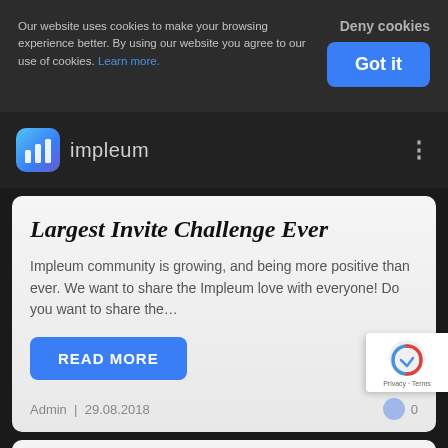Deny cookies
Our website uses cookies to make your browsing experience better. By using our website you agree to our use of cookies. Learn more.
Got it
[Figure (logo): Impleum logo — blue/purple icon with bar chart symbol and text 'impleum']
Largest Invite Challenge Ever
Impleum community is growing, and being more positive than ever. We want to share the Impleum love with everyone! Do you want to share the…
READ MORE
Admin  |  29.08.2018
0
[Figure (screenshot): reCAPTCHA badge with Privacy and Terms links]
News